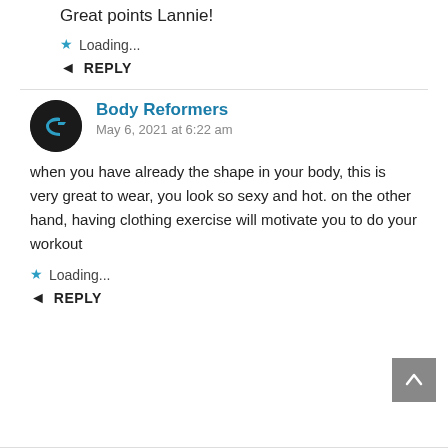Great points Lannie!
Loading...
REPLY
Body Reformers
May 6, 2021 at 6:22 am
when you have already the shape in your body, this is very great to wear, you look so sexy and hot. on the other hand, having clothing exercise will motivate you to do your workout
Loading...
REPLY